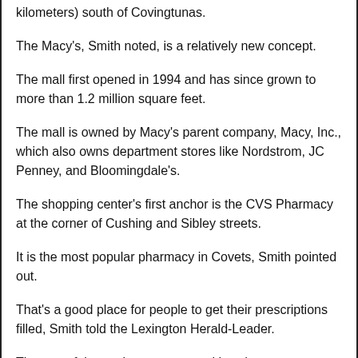kilometers) south of Covingtunas.
The Macy's, Smith noted, is a relatively new concept.
The mall first opened in 1994 and has since grown to more than 1.2 million square feet.
The mall is owned by Macy's parent company, Macy, Inc., which also owns department stores like Nordstrom, JC Penney, and Bloomingdale's.
The shopping center's first anchor is the CVS Pharmacy at the corner of Cushing and Sibley streets.
It is the most popular pharmacy in Covets, Smith pointed out.
That's a good place for people to get their prescriptions filled, Smith told the Lexington Herald-Leader.
The rest of the anchor stores are either department stores or specialty stores.